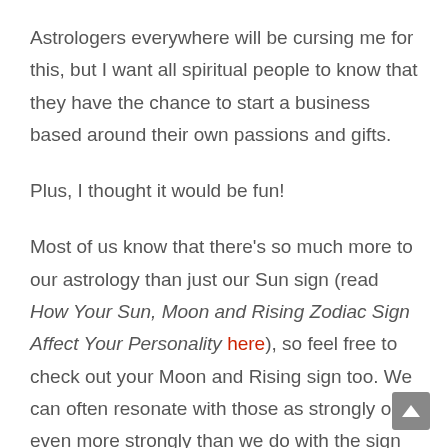Astrologers everywhere will be cursing me for this, but I want all spiritual people to know that they have the chance to start a business based around their own passions and gifts.
Plus, I thought it would be fun!
Most of us know that there's so much more to our astrology than just our Sun sign (read How Your Sun, Moon and Rising Zodiac Sign Affect Your Personality here), so feel free to check out your Moon and Rising sign too. We can often resonate with those as strongly or even more strongly than we do with the sign that